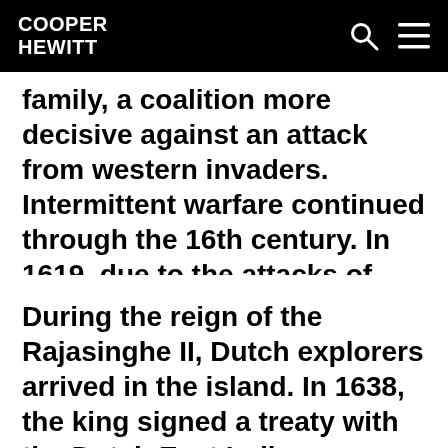COOPER HEWITT
family, a coalition more decisive against an attack from western invaders. Intermittent warfare continued through the 16th century. In 1619, due to the attacks of Portuguese, independent existence of Jaffna kingdom, came to an end.
During the reign of the Rajasinghe II, Dutch explorers arrived in the island. In 1638, the king signed a treaty with the Dutch East India Company to get rid of Portuguese who ruled most of the